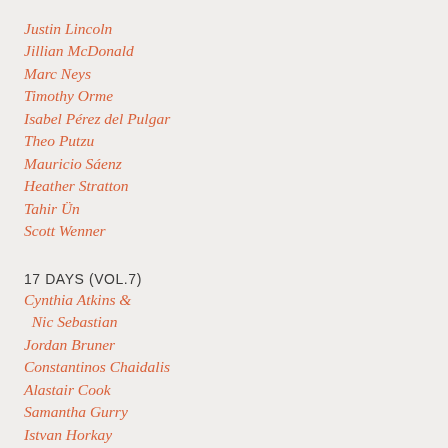Justin Lincoln
Jillian McDonald
Marc Neys
Timothy Orme
Isabel Pérez del Pulgar
Theo Putzu
Mauricio Sáenz
Heather Stratton
Tahir Ün
Scott Wenner
17 DAYS (VOL.7)
Cynthia Atkins & Nic Sebastian
Jordan Bruner
Constantinos Chaidalis
Alastair Cook
Samantha Gurry
Istvan Horkay